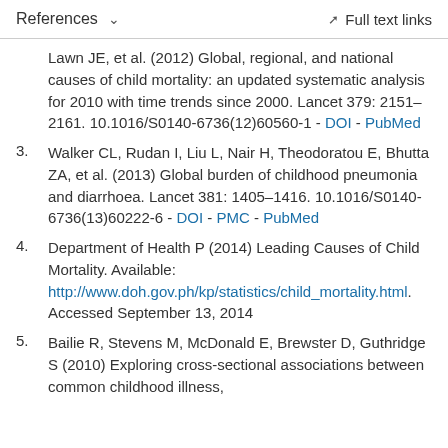References   ∨   Full text links
Lawn JE, et al. (2012) Global, regional, and national causes of child mortality: an updated systematic analysis for 2010 with time trends since 2000. Lancet 379: 2151–2161. 10.1016/S0140-6736(12)60560-1 - DOI - PubMed
3. Walker CL, Rudan I, Liu L, Nair H, Theodoratou E, Bhutta ZA, et al. (2013) Global burden of childhood pneumonia and diarrhoea. Lancet 381: 1405–1416. 10.1016/S0140-6736(13)60222-6 - DOI - PMC - PubMed
4. Department of Health P (2014) Leading Causes of Child Mortality. Available: http://www.doh.gov.ph/kp/statistics/child_mortality.html. Accessed September 13, 2014
5. Bailie R, Stevens M, McDonald E, Brewster D, Guthridge S (2010) Exploring cross-sectional associations between common childhood illness,